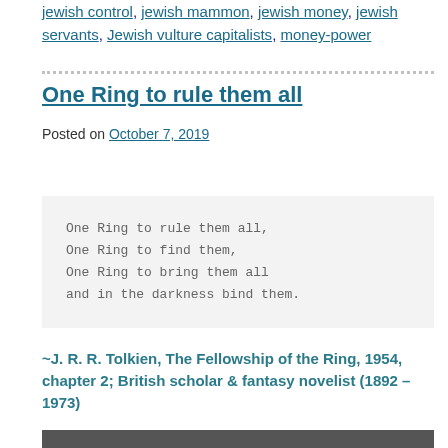jewish control, jewish mammon, jewish money, jewish servants, Jewish vulture capitalists, money-power
One Ring to rule them all
Posted on October 7, 2019
One Ring to rule them all,
One Ring to find them,
One Ring to bring them all
and in the darkness bind them.
~J. R. R. Tolkien, The Fellowship of the Ring, 1954, chapter 2; British scholar & fantasy novelist (1892 – 1973)